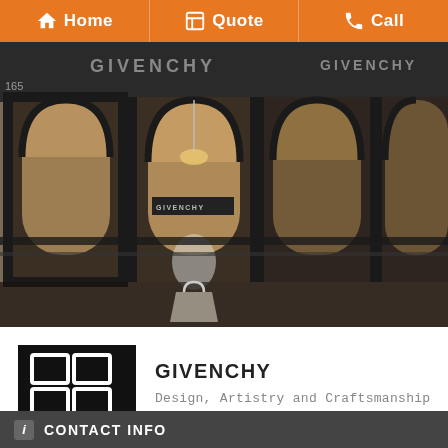Home | Quote | Call
[Figure (photo): Exterior of a Givenchy luxury fashion boutique showing large arched windows with dark metal frames, warm interior lighting, and mannequins/bags visible inside. The GIVENCHY brand name is printed on the facade.]
[Figure (logo): Givenchy logo: black square with four white interlocking G symbols arranged in a 2x2 grid, with GIVENCHY text below in white.]
GIVENCHY
Design, Artistry and Craftsmanship
CONTACT INFO